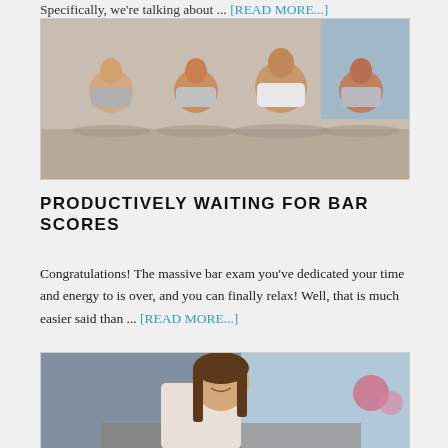Specifically, we're talking about ... [READ MORE...]
[Figure (photo): Group of women sitting cross-legged in yoga/meditation pose in a studio, wearing workout clothes]
PRODUCTIVELY WAITING FOR BAR SCORES
Congratulations! The massive bar exam you've dedicated your time and energy to is over, and you can finally relax! Well, that is much easier said than ... [READ MORE...]
[Figure (photo): Young woman with long hair smiling and looking down, in an office or cafe setting]